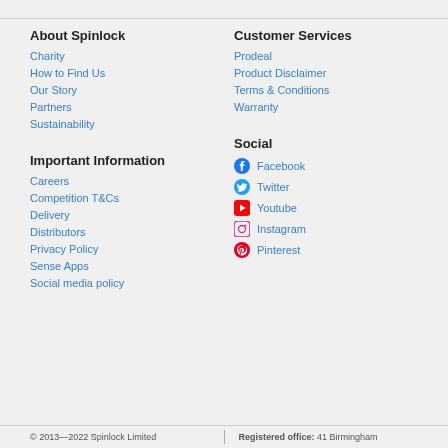About Spinlock
Charity
How to Find Us
Our Story
Partners
Sustainability
Customer Services
Prodeal
Product Disclaimer
Terms & Conditions
Warranty
Important Information
Careers
Competition T&Cs
Delivery
Distributors
Privacy Policy
Sense Apps
Social media policy
Social
Facebook
Twitter
Youtube
Instagram
Pinterest
© 2013—2022 Spinlock Limited | Registered office: 41 Birmingham